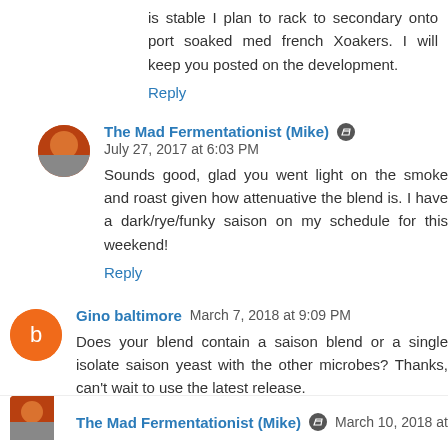is stable I plan to rack to secondary onto port soaked med french Xoakers. I will keep you posted on the development.
Reply
The Mad Fermentationist (Mike) July 27, 2017 at 6:03 PM
Sounds good, glad you went light on the smoke and roast given how attenuative the blend is. I have a dark/rye/funky saison on my schedule for this weekend!
Reply
Gino baltimore March 7, 2018 at 9:09 PM
Does your blend contain a saison blend or a single isolate saison yeast with the other microbes? Thanks, can't wait to use the latest release.
Reply
The Mad Fermentationist (Mike) March 10, 2018 at